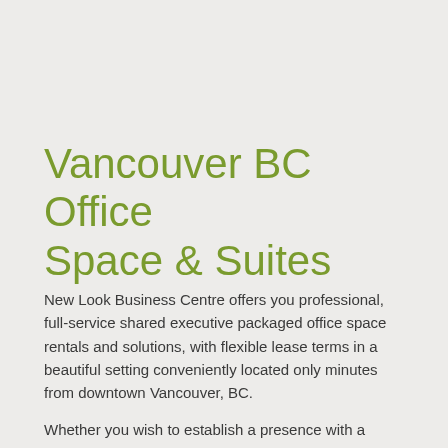Vancouver BC Office Space & Suites
New Look Business Centre offers you professional, full-service shared executive packaged office space rentals and solutions, with flexible lease terms in a beautiful setting conveniently located only minutes from downtown Vancouver, BC.
Whether you wish to establish a presence with a Virtual Office, require a full time furnished Executive Office or would like a larger Executive Suite, New Look Business Centre can offer you a cost-effective solution to enhance the image and productivity of your business.
What makes New Look Business Centre the right choice for you? Find out here.